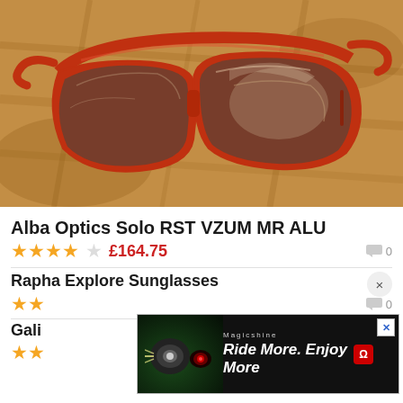[Figure (photo): Red/orange Alba Optics Solo RST VZUM MR ALU sunglasses with mirrored lenses resting on a wooden chipboard surface.]
Alba Optics Solo RST VZUM MR ALU
4 out of 5 stars  £164.75  0 comments
Rapha Explore Sunglasses
2 stars  0 comments
Gali...
2 stars
[Figure (screenshot): Advertisement banner for Magicshine showing cycling lights with text 'Ride More. Enjoy More' with a close button.]